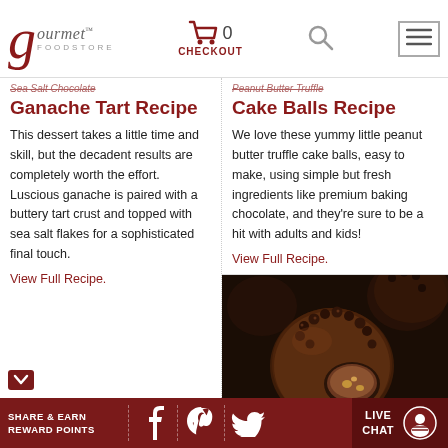Gourmet Foodstore — CHECKOUT 0
Sea Salt Chocolate Ganache Tart Recipe
Ganache Tart Recipe
This dessert takes a little time and skill, but the decadent results are completely worth the effort. Luscious ganache is paired with a buttery tart crust and topped with sea salt flakes for a sophisticated final touch.
View Full Recipe.
Peanut Butter Truffle Cake Balls Recipe
Cake Balls Recipe
We love these yummy little peanut butter truffle cake balls, easy to make, using simple but fresh ingredients like premium baking chocolate, and they're sure to be a hit with adults and kids!
View Full Recipe.
[Figure (photo): Chocolate cake balls coated in chocolate and topped with small chocolate pearls, one cut open to show interior with peanut butter filling]
SHARE & EARN REWARD POINTS — Facebook, Pinterest, Twitter social share icons — LIVE CHAT